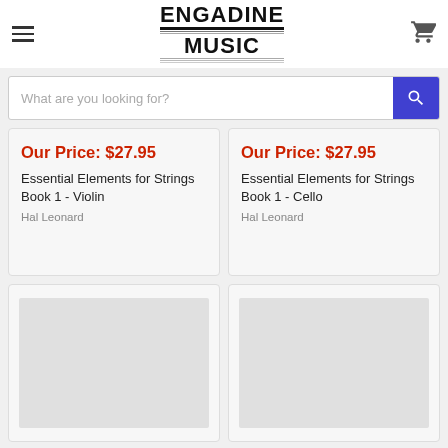ENGADINE MUSIC
What are you looking for?
Our Price: $27.95
Essential Elements for Strings Book 1 - Violin
Hal Leonard
Our Price: $27.95
Essential Elements for Strings Book 1 - Cello
Hal Leonard
[Figure (other): Placeholder product image card]
[Figure (other): Placeholder product image card]